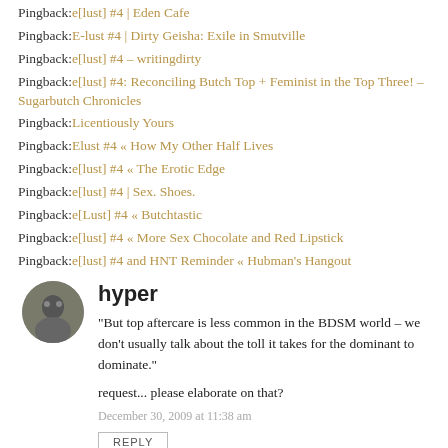Pingback: e[lust] #4 | Eden Cafe
Pingback: E-lust #4 | Dirty Geisha: Exile in Smutville
Pingback: e[lust] #4 – writingdirty
Pingback: e[lust] #4: Reconciling Butch Top + Feminist in the Top Three! – Sugarbutch Chronicles
Pingback: Licentiously Yours
Pingback: Elust #4 « How My Other Half Lives
Pingback: e[lust] #4 « The Erotic Edge
Pingback: e[lust] #4 | Sex. Shoes.
Pingback: e[Lust] #4 « Butchtastic
Pingback: e[lust] #4 « More Sex Chocolate and Red Lipstick
Pingback: e[lust] #4 and HNT Reminder « Hubman's Hangout
hyper
"But top aftercare is less common in the BDSM world – we don't usually talk about the toll it takes for the dominant to dominate."
request... please elaborate on that?
December 30, 2009 at 11:38 am
REPLY